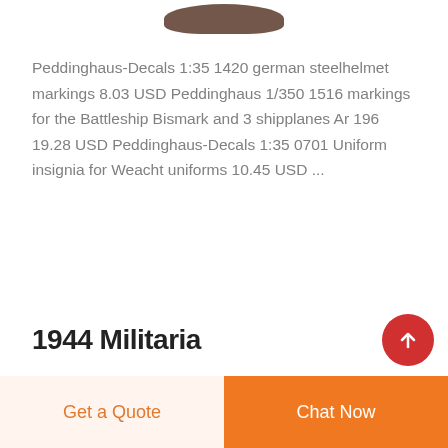[Figure (photo): Partial product image — dark brown helmet shape visible at top of page, cropped]
Peddinghaus-Decals 1:35 1420 german steelhelmet markings 8.03 USD Peddinghaus 1/350 1516 markings for the Battleship Bismark and 3 shipplanes Ar 196 19.28 USD Peddinghaus-Decals 1:35 0701 Uniform insignia for Weacht uniforms 10.45 USD ...
1944 Militaria
Get a Quote
Chat Now